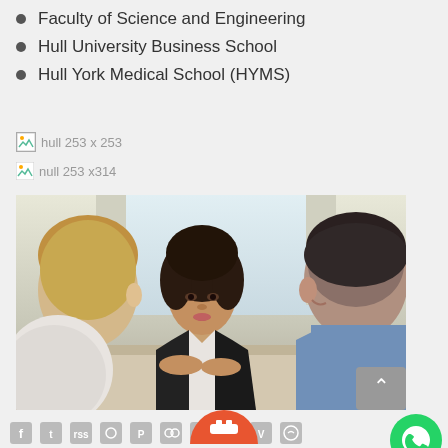Faculty of Science and Engineering
Hull University Business School
Hull York Medical School (HYMS)
[Figure (photo): Broken image placeholder labeled 'hull 253 x 253']
[Figure (photo): Broken image placeholder labeled 'null 253 x314']
[Figure (photo): Photo of three people at a meeting table: a blonde woman on the left, a dark-haired woman in the center wearing a black jacket, and a man on the right in a blue shirt, with bright windows in background]
[Figure (infographic): Row of social media icons (Facebook, Twitter, RSS, Instagram, Pinterest, Flickr, Google+, YouTube, Vimeo, WhatsApp) and a WhatsApp green circle button on the right, plus an orange icon at the bottom center]